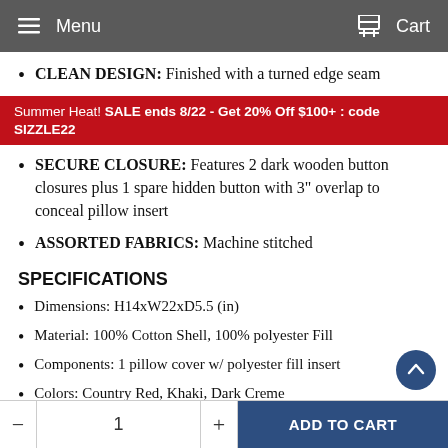Menu   Cart
CLEAN DESIGN: Finished with a turned edge seam
Summer Heat! SALE ends 8/22 - Get 20% Off $100+ : code SIZZLE22
SECURE CLOSURE: Features 2 dark wooden button closures plus 1 spare hidden button with 3" overlap to conceal pillow insert
ASSORTED FABRICS: Machine stitched
SPECIFICATIONS
Dimensions: H14xW22xD5.5 (in)
Material: 100% Cotton Shell, 100% polyester Fill
Components: 1 pillow cover w/ polyester fill insert
Colors: Country Red, Khaki, Dark Creme